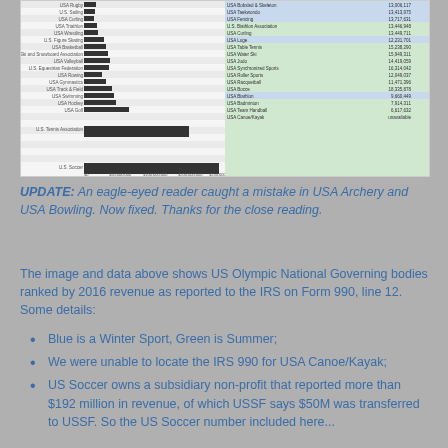[Figure (bar-chart): Horizontal bar chart showing US Olympic National Governing Bodies ranked by 2016 revenue as reported to the IRS on Form 990, line 12. Bars are colored blue (Winter Sports) and green (Summer Sports). The chart has two panels side by side.]
UPDATE: An eagle-eyed reader caught a mistake in USA Archery and USA Bowling. Now fixed. Thanks for the close reading.
The image and data above shows US Olympic National Governing bodies ranked by 2016 revenue as reported to the IRS on Form 990, line 12. Some details:
Blue is a Winter Sport, Green is Summer;
We were unable to locate the IRS 990 for USA Canoe/Kayak;
US Soccer owns a subsidiary non-profit that reported more than $192 million in revenue, of which USSF says $50M was transferred to USSF. So the US Soccer number included here...